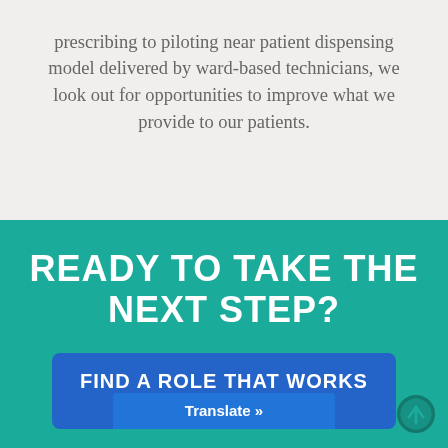prescribing to piloting near patient dispensing model delivered by ward-based technicians, we look out for opportunities to improve what we provide to our patients.
READY TO TAKE THE NEXT STEP?
FIND A ROLE THAT WORKS FOR YOU